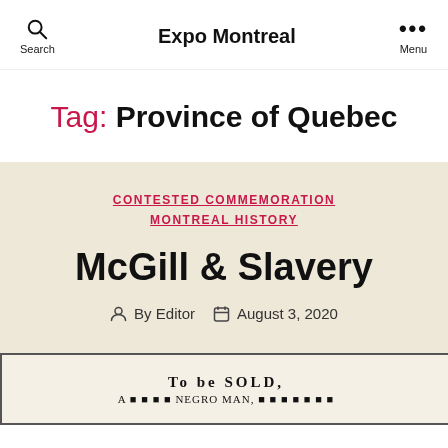Search   Expo Montreal   Menu
Tag: Province of Quebec
CONTESTED COMMEMORATION
MONTREAL HISTORY
McGill & Slavery
By Editor   August 3, 2020
[Figure (photo): Old newspaper clipping with text 'To be SOLD,' and partial text of an old advertisement below]